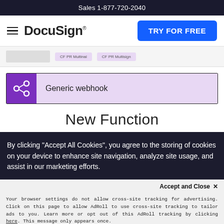Sales 1-877-720-2040
[Figure (screenshot): DocuSign navigation bar with hamburger menu, DocuSign logo, and TRY FOR FREE blue button]
[Figure (screenshot): Partial UI showing grey box and two purple pill labels reading 'CF PR Multinal' and 'CF PR Multisign']
[Figure (infographic): Generic webhook banner with purple background icon (webhook symbol) and light purple label area reading 'Generic webhook']
New Function
By clicking "Accept All Cookies", you agree to the storing of cookies on your device to enhance site navigation, analyze site usage, and assist in our marketing efforts.
Accept and Close ✕
Your browser settings do not allow cross-site tracking for advertising. Click on this page to allow AdRoll to use cross-site tracking to tailor ads to you. Learn more or opt out of this AdRoll tracking by clicking here. This message only appears once.